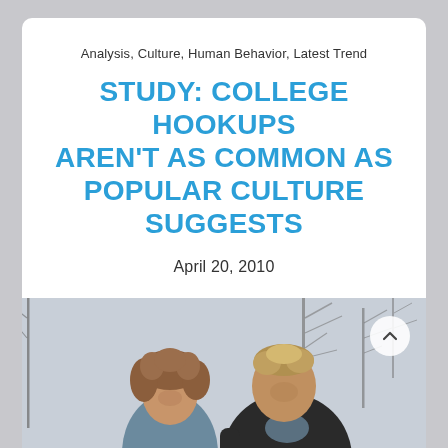Analysis, Culture, Human Behavior, Latest Trend
STUDY: COLLEGE HOOKUPS AREN'T AS COMMON AS POPULAR CULTURE SUGGESTS
April 20, 2010
[Figure (photo): A young woman with curly hair and a young man in a dark jacket smiling and looking at each other outdoors with bare trees in the background.]